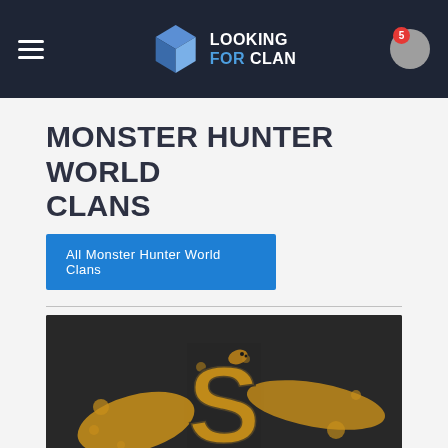LOOKING FOR CLAN
MONSTER HUNTER WORLD CLANS
All Monster Hunter World Clans
[Figure (illustration): Dark background with a golden snake-shaped S logo with paint splatter effects — a clan emblem for Monster Hunter World]